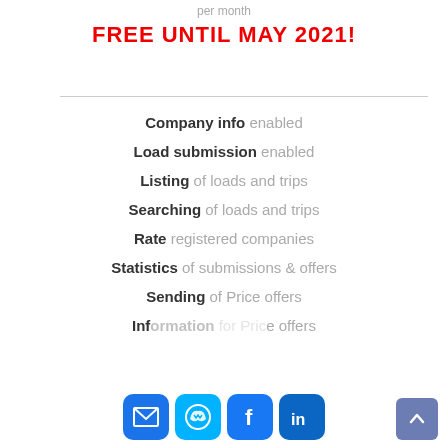per month
FREE UNTIL MAY 2021!
Company info enabled
Load submission enabled
Listing of loads and trips
Searching of loads and trips
Rate registered companies
Statistics of submissions & offers
Sending of Price offers
Information for Price offers